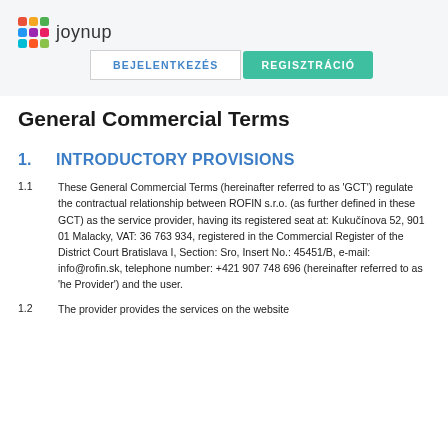joynup
BEJELENTKEZÉS   REGISZTRÁCIÓ
General Commercial Terms
1.   INTRODUCTORY PROVISIONS
1.1   These General Commercial Terms (hereinafter referred to as 'GCT') regulate the contractual relationship between ROFIN s.r.o. (as further defined in these GCT) as the service provider, having its registered seat at: Kukučínova 52, 901 01 Malacky, VAT: 36 763 934, registered in the Commercial Register of the District Court Bratislava I, Section: Sro, Insert No.: 45451/B, e-mail: info@rofin.sk, telephone number: +421 907 748 696 (hereinafter referred to as 'he Provider') and the user.
1.2   The provider provides the services on the website